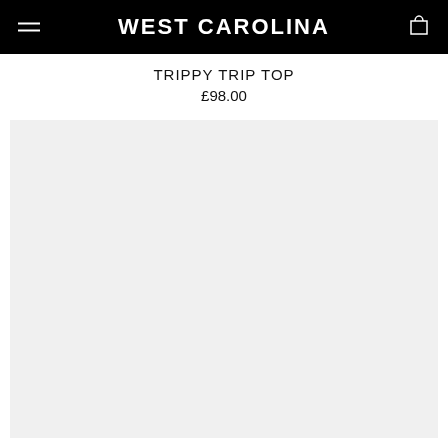WEST CAROLINA
TRIPPY TRIP TOP
£98.00
[Figure (photo): Product image area showing a light grey/white placeholder background for the Trippy Trip Top product]